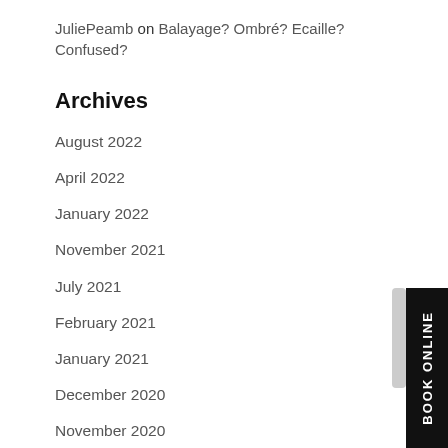JuliePeamb on Balayage? Ombré? Ecaille? Confused?
Archives
August 2022
April 2022
January 2022
November 2021
July 2021
February 2021
January 2021
December 2020
November 2020
October 2020
September 2020